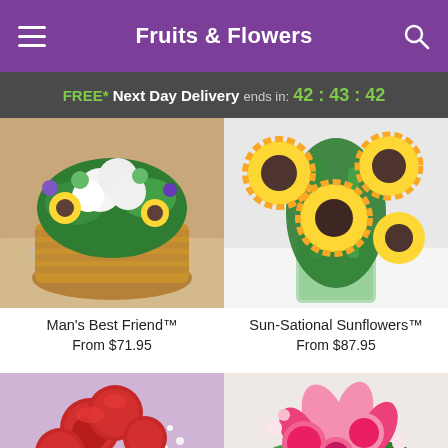Fruits & Flowers
FREE* Next Day Delivery ends in: 42 : 43 : 42
[Figure (photo): Man's Best Friend flower arrangement in a basket with sunflowers, white carnations, purple and green flowers]
[Figure (photo): Sun-Sational Sunflowers arrangement of large sunflowers in a green glass vase]
Man's Best Friend™
From $71.95
Sun-Sational Sunflowers™
From $87.95
[Figure (photo): Red roses with baby's breath arrangement on purple background]
[Figure (photo): Pink lilies and roses mixed flower arrangement]